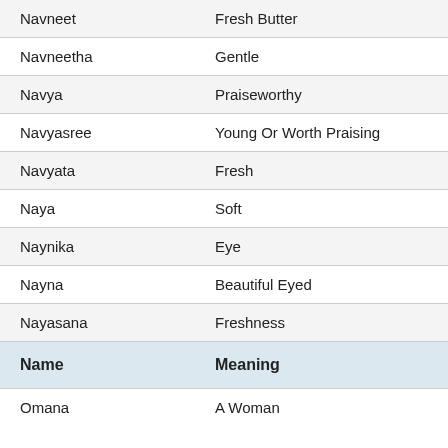| Name | Meaning |
| --- | --- |
| Navneet | Fresh Butter |
| Navneetha | Gentle |
| Navya | Praiseworthy |
| Navyasree | Young Or Worth Praising |
| Navyata | Fresh |
| Naya | Soft |
| Naynika | Eye |
| Nayna | Beautiful Eyed |
| Nayasana | Freshness |
| Omana | A Woman |